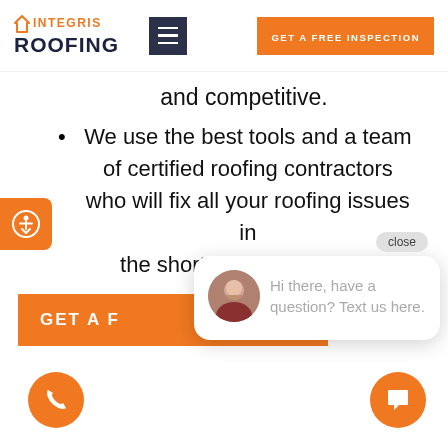[Figure (logo): Integris Roofing logo with orange house icon and dark navy text]
[Figure (illustration): Hamburger menu icon button (dark navy background, white lines)]
[Figure (illustration): GET A FREE INSPECTION orange button]
[Figure (illustration): Accessibility icon button (orange, person in circle)]
and competitive.
We use the best tools and a team of certified roofing contractors who will fix all your roofing issues in the shortest time possible.
close
[Figure (illustration): Chat popup with avatar photo and message: Hi there, have a question? Text us here.]
[Figure (illustration): GET A FREE [INSPECTION] orange button (partially covered)]
[Figure (illustration): Orange phone FAB button bottom left]
[Figure (illustration): Orange chat FAB button bottom right]